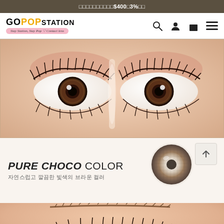□□□□□□□□□□$400□3%□□
[Figure (logo): GoPop Station logo with pink subtitle banner reading 'Stay Station, Stay Pop - Contact lens']
[Figure (photo): Close-up photo of a person's eyes wearing brown chocolate colored contact lenses, with mascara and pink eye shadow]
[Figure (photo): Product section showing 'PURE CHOCO COLOR' title with Korean subtitle '자연스럽고 깔끔한 빛색의 브라운 컬러' and a circular lens swatch showing the chocolate brown color pattern]
[Figure (photo): Close-up of eye lashes at the bottom of the page, showing bottom lash area]